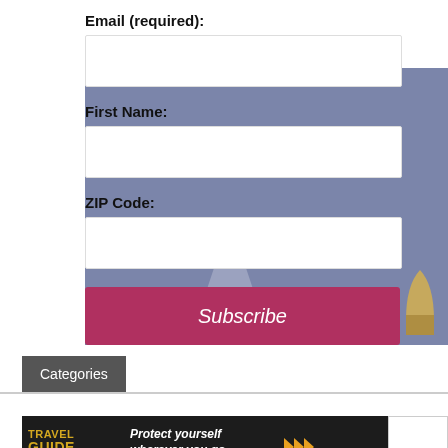[Figure (screenshot): Email subscription form with fields for Email (required), First Name, ZIP Code, and a Subscribe button, overlaid on a background with US flag/gun imagery]
Email (required):
First Name:
ZIP Code:
Subscribe
Categories
[Figure (screenshot): Travel Guide For Gun Owners advertisement banner with text 'Protect yourself wherever you go.' and U.S. LawShield branding, with a dropdown arrow button on the right]